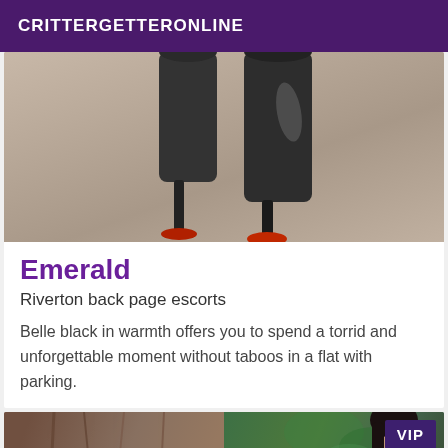CRITTERGETTERONLINE
[Figure (photo): Close-up photo of high-heeled shoes with red soles on a beige carpet]
Emerald
Riverton back page escorts
Belle black in warmth offers you to spend a torrid and unforgettable moment without taboos in a flat with parking.
[Figure (photo): Photo of a dark-haired woman next to a tree with greenery in background, with VIP badge in top right corner]